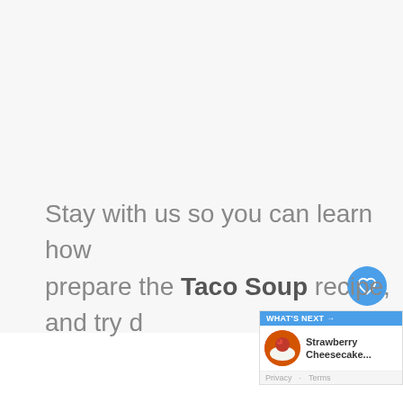[Figure (screenshot): Mostly blank/white page area with a blue circular like button showing a heart icon, a count of 4, and a share button below it on the right side. This is a website screenshot showing a recipe page UI.]
Stay with us so you can learn how prepare the Taco Soup recipe, and try d
[Figure (screenshot): WHAT'S NEXT widget showing a thumbnail of Strawberry Cheesecake with Privacy and Terms links at bottom]